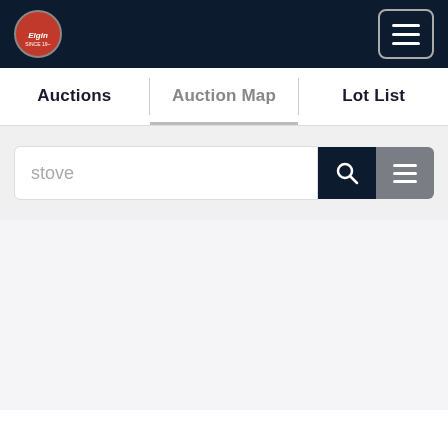[Figure (screenshot): Website navigation header with dark navy background, circular logo on left, hamburger menu button on right]
Auctions | Auction Map | Lot List
[Figure (screenshot): Search bar with text 'stove', a dark search icon button, and a gray filter/menu button]